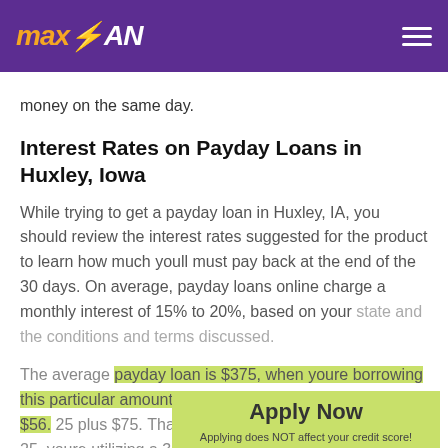maxLOAN
money on the same day.
Interest Rates on Payday Loans in Huxley, Iowa
While trying to get a payday loan in Huxley, IA, you should review the interest rates suggested for the product to learn how much youll must pay back at the end of the 30 days. On average, payday loans online charge a monthly interest of 15% to 20%, based on your state and the conditions and terms discussed.
The average payday loan is $375, when youre borrowing this particular amount, you will pay interest of between $56. 25 plus $75. That means regarding interest of $56. 25, youre utilizing a 391% APR. When